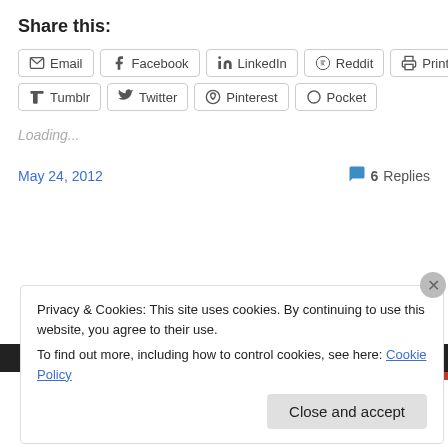Share this:
Email  Facebook  LinkedIn  Reddit  Print  Tumblr  Twitter  Pinterest  Pocket
Loading...
May 24, 2012   6 Replies
Privacy & Cookies: This site uses cookies. By continuing to use this website, you agree to their use. To find out more, including how to control cookies, see here: Cookie Policy
Close and accept